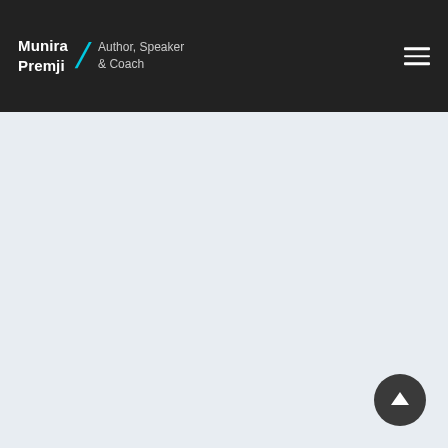Munira Premji / Author, Speaker & Coach
[Figure (screenshot): Light blue-grey blank content area below the header navigation bar]
[Figure (other): Back to top button: dark circular button with white upward arrow in bottom right corner]